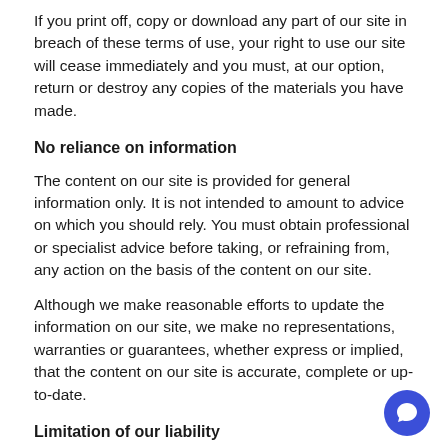If you print off, copy or download any part of our site in breach of these terms of use, your right to use our site will cease immediately and you must, at our option, return or destroy any copies of the materials you have made.
No reliance on information
The content on our site is provided for general information only. It is not intended to amount to advice on which you should rely. You must obtain professional or specialist advice before taking, or refraining from, any action on the basis of the content on our site.
Although we make reasonable efforts to update the information on our site, we make no representations, warranties or guarantees, whether express or implied, that the content on our site is accurate, complete or up-to-date.
Limitation of our liability
Nothing in these terms of use excludes or limits our liability for death or personal injury arising from our negligence, or our